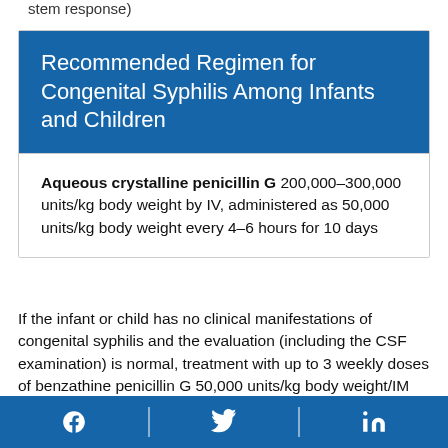stem response)
Recommended Regimen for Congenital Syphilis Among Infants and Children
Aqueous crystalline penicillin G 200,000–300,000 units/kg body weight by IV, administered as 50,000 units/kg body weight every 4–6 hours for 10 days
If the infant or child has no clinical manifestations of congenital syphilis and the evaluation (including the CSF examination) is normal, treatment with up to 3 weekly doses of benzathine penicillin G 50,000 units/kg body weight/IM can be considered obtained
Facebook | Twitter | LinkedIn